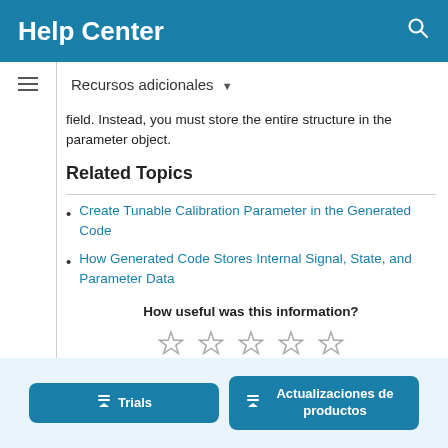Help Center
field. Instead, you must store the entire structure in the parameter object.
Related Topics
Create Tunable Calibration Parameter in the Generated Code
How Generated Code Stores Internal Signal, State, and Parameter Data
How useful was this information?
[Figure (other): Five empty star rating icons]
Trials | Actualizaciones de productos